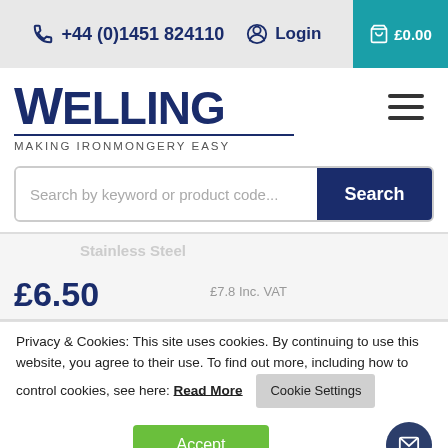+44 (0)1451 824110   Login   £0.00
[Figure (logo): Welling logo with text 'MAKING IRONMONGERY EASY']
Search by keyword or product code...
Stainless Steel
£6.50   £7.8 Inc. VAT
Privacy & Cookies: This site uses cookies. By continuing to use this website, you agree to their use. To find out more, including how to control cookies, see here: Read More
Accept